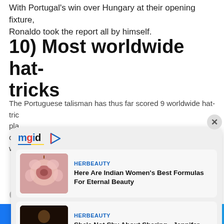With Portugal's win over Hungary at their opening fixture, Ronaldo took the report all by himself.
10) Most worldwide hat-tricks
The Portuguese talisman has thus far scored 9 worldwide hat-tricks
[Figure (screenshot): MGID advertisement overlay panel containing two HERBEAUTY sponsored article cards: 1) 'Here Are Indian Women's Best Formulas For Eternal Beauty' with a pink flower/apple image; 2) 'She's Not Shy About Sharing - Jennifer Lopez's Body Hacks' with a photo of a woman in black. Panel has a close (X) button in the top right corner.]
contributions
Facebook share button | Twitter share button